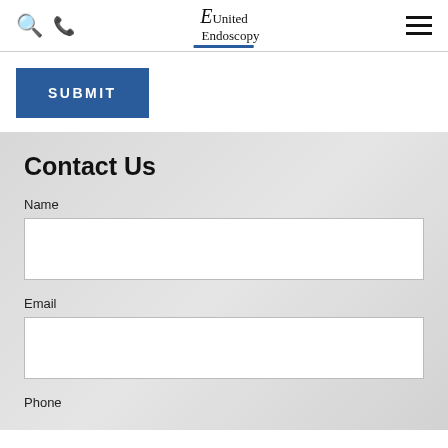United Endoscopy — navigation header with search, phone, logo, and menu icons
SUBMIT
Contact Us
Name
Email
Phone